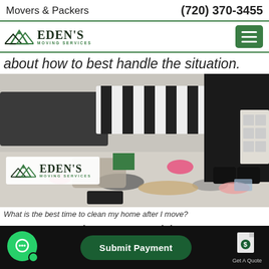Movers & Packers    (720) 370-3455
[Figure (logo): Eden's Moving Services logo with mountain graphic and green hamburger menu icon]
about how to best handle the situation.
[Figure (photo): Photo of a messy bedroom floor with scattered clothing and bedding; person in black pants standing; Eden's Moving Services logo overlay with green square accent]
What is the best time to clean my home after I move?
Step 3: Update your address
Chat button | Submit Payment | Get A Quote